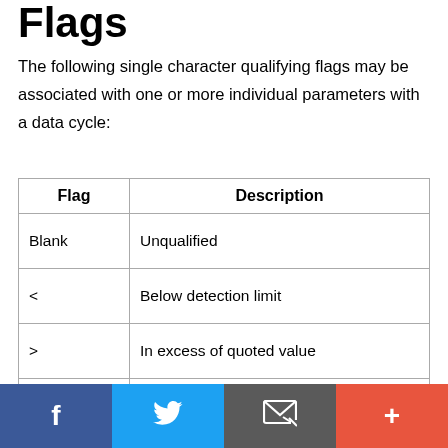Flags
The following single character qualifying flags may be associated with one or more individual parameters with a data cycle:
| Flag | Description |
| --- | --- |
| Blank | Unqualified |
| < | Below detection limit |
| > | In excess of quoted value |
| A | Taxonomic flag for affinis (aff.) |
| B | Beginning of CTD Down/Up Cast |